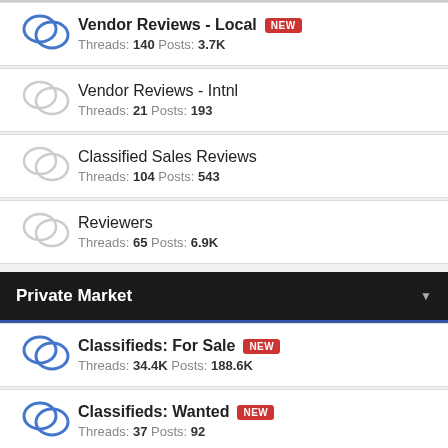Vendor Reviews - Local | NEW | Threads: 140 Posts: 3.7K
Vendor Reviews - Intnl | Threads: 21 Posts: 193
Classified Sales Reviews | Threads: 104 Posts: 543
Reviewers | Threads: 65 Posts: 6.9K
Private Market
Classifieds: For Sale | NEW | Threads: 34.4K Posts: 188.6K
Classifieds: Wanted | NEW | Threads: 37 Posts: 92